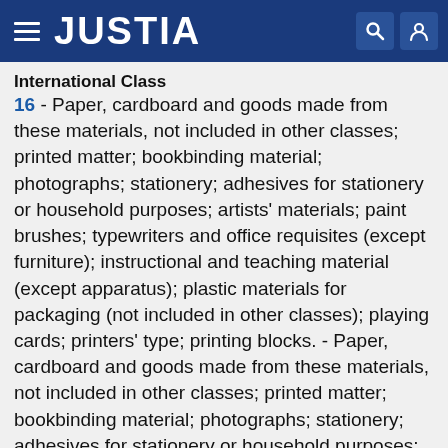JUSTIA
International Class
16 - Paper, cardboard and goods made from these materials, not included in other classes; printed matter; bookbinding material; photographs; stationery; adhesives for stationery or household purposes; artists' materials; paint brushes; typewriters and office requisites (except furniture); instructional and teaching material (except apparatus); plastic materials for packaging (not included in other classes); playing cards; printers' type; printing blocks. - Paper, cardboard and goods made from these materials, not included in other classes; printed matter; bookbinding material; photographs; stationery; adhesives for stationery or household purposes; artists' materials; paint brushes; typewriters and office requisites (except furniture); instructional and teaching material (except apparatus); plastic materials for packaging (not included in other